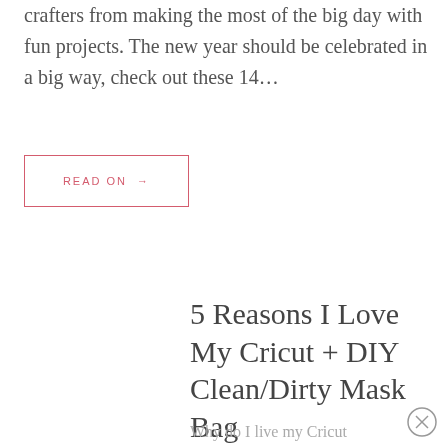crafters from making the most of the big day with fun projects. The new year should be celebrated in a big way, check out these 14…
READ ON →
5 Reasons I Love My Cricut + DIY Clean/Dirty Mask Bag
Why do I live my Cricut